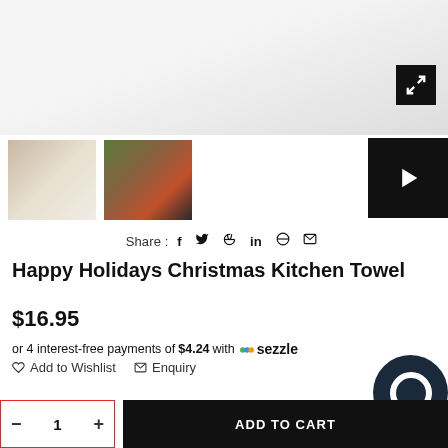[Figure (photo): Main product photo area showing white kitchen towel on marble surface]
[Figure (photo): Thumbnail 1: kitchen towel with holiday print laid flat with wooden spoon]
[Figure (photo): Thumbnail 2: kitchen towel displayed with Christmas greenery and red sled]
[Figure (photo): Play button for video thumbnail]
Share : f ♥ P in ⊕ ✉
Happy Holidays Christmas Kitchen Towel
$16.95
or 4 interest-free payments of $4.24 with  sezzle
♡ Add to Wishlist   ✉ Enquiry
ADD TO CART